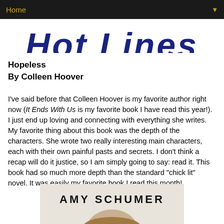Home ▼
[Figure (illustration): Partial logo text reading 'Hot Lines' or similar blog title in large dark blue bold italic font, cropped at top]
Hopeless
By Colleen Hoover
I've said before that Colleen Hoover is my favorite author right now (It Ends With Us is my favorite book I have read this year!). I just end up loving and connecting with everything she writes. My favorite thing about this book was the depth of the characters. She wrote two really interesting main characters, each with their own painful pasts and secrets. I don't think a recap will do it justice, so I am simply going to say: read it. This book had so much more depth than the standard "chick lit" novel. It was easily my favorite book I read this month!
[Figure (photo): Book cover showing 'AMY SCHUMER' in large letters at top, with a photo of Amy Schumer below]